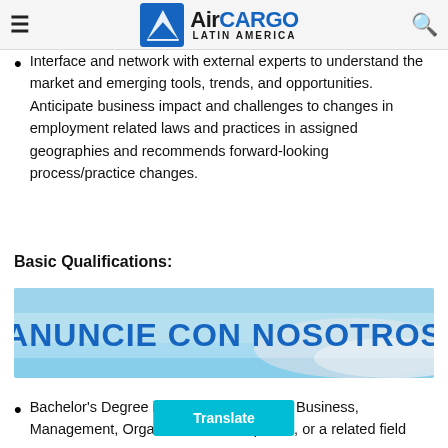AirCARGO LATIN AMERICA
Interface and network with external experts to understand the market and emerging tools, trends, and opportunities. Anticipate business impact and challenges to changes in employment related laws and practices in assigned geographies and recommends forward-looking process/practice changes.
Basic Qualifications:
[Figure (photo): Advertisement banner reading ANUNCIE CON NOSOTROS with airplane wing background]
Bachelor's Degree in Human Resources, Business, Management, Organization Development, or a related field
Translate